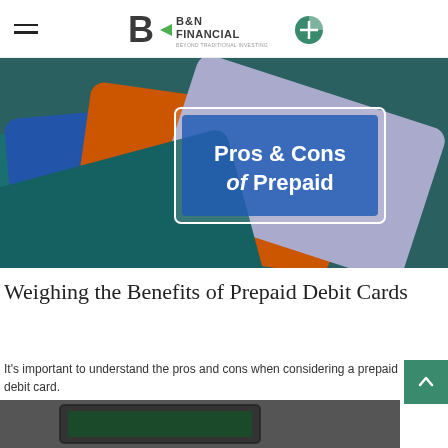B&N Financial — Beyond Traditional Investing
[Figure (photo): Stack of colorful prepaid debit cards fanned out, with a white box overlay reading 'Pros & Cons of Prepaid' in bold white text]
Weighing the Benefits of Prepaid Debit Cards
It's important to understand the pros and cons when considering a prepaid debit card.
[Figure (photo): Partial view of a laptop or tablet on a dark surface — bottom portion of page, cropped]